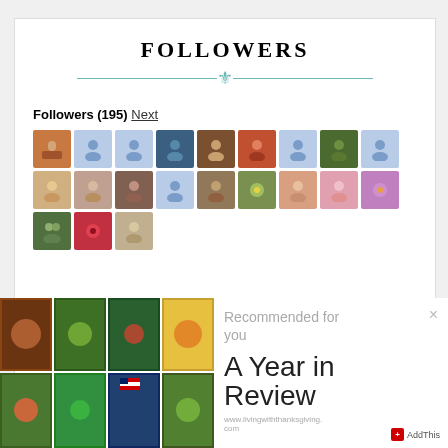FOLLOWERS
Followers (195) Next
[Figure (photo): Grid of 21 follower avatar thumbnails, some showing real photos and some showing blue placeholder person icons]
[Figure (photo): 8-cell collage of table decoration and flower arrangement photos]
Recommended for you
A Year in Review
www.livingwithtanksgiving.com
AddThis